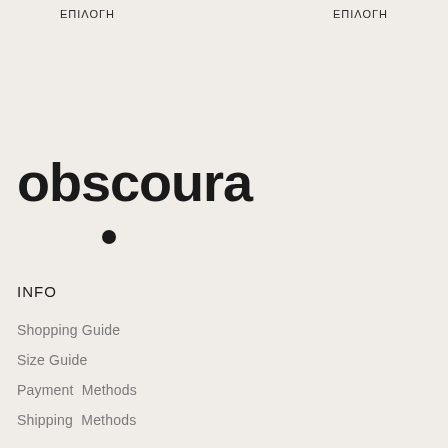ΕΠΙΛΟΓΗ    ΕΠΙΛΟΓΗ
obscoura
[Figure (other): A single black filled circle bullet point]
INFO
Shopping Guide
Size Guide
Payment  Methods
Shipping  Methods